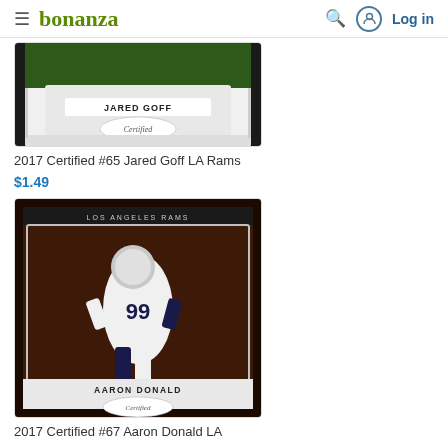bonanza — Log in
[Figure (photo): Trading card: 2017 Certified #65 Jared Goff LA Rams — top portion of card visible showing player name and Certified logo]
2017 Certified #65 Jared Goff LA Rams
$1.49
[Figure (photo): Trading card: 2017 Certified #67 Aaron Donald LA Rams — player wearing #99 jersey running, card shows LOS ANGELES RAMS header and Certified logo]
2017 Certified #67 Aaron Donald LA